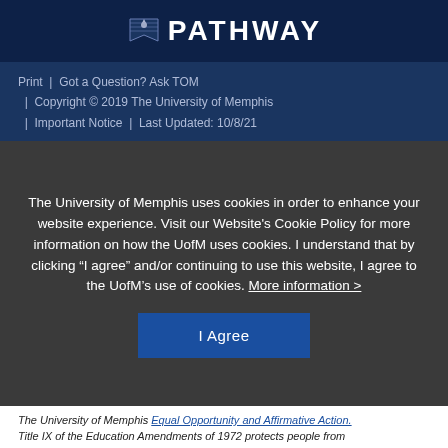[Figure (logo): University Pathway logo with flag icon and bold white text 'PATHWAY' on dark navy background]
Print  |  Got a Question? Ask TOM  |  Copyright © 2019 The University of Memphis  |  Important Notice  |  Last Updated: 10/8/21
The University of Memphis uses cookies in order to enhance your website experience. Visit our Website's Cookie Policy for more information on how the UofM uses cookies. I understand that by clicking "I agree" and/or continuing to use this website, I agree to the UofM's use of cookies. More information >
I Agree
The University of Memphis Equal Opportunity and Affirmative Action.
Title IX of the Education Amendments of 1972 protects people from